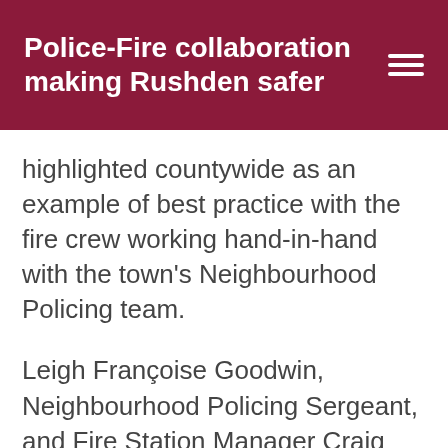Police-Fire collaboration making Rushden safer
highlighted countywide as an example of best practice with the fire crew working hand-in-hand with the town's Neighbourhood Policing team.
Leigh Françoise Goodwin, Neighbourhood Policing Sergeant, and Fire Station Manager Craig Douglas have worked hard together to build a healthy relationship that